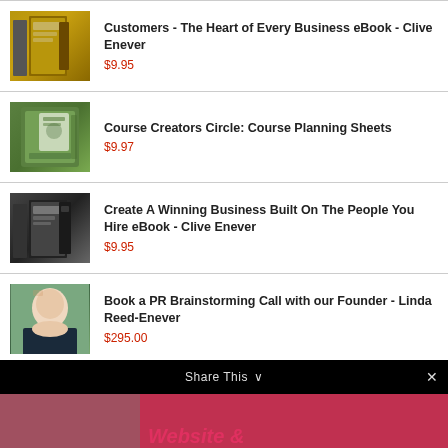Customers - The Heart of Every Business eBook - Clive Enever $9.95
Course Creators Circle: Course Planning Sheets $9.97
Create A Winning Business Built On The People You Hire eBook - Clive Enever $9.95
Book a PR Brainstorming Call with our Founder - Linda Reed-Enever $295.00
Share This
Website &